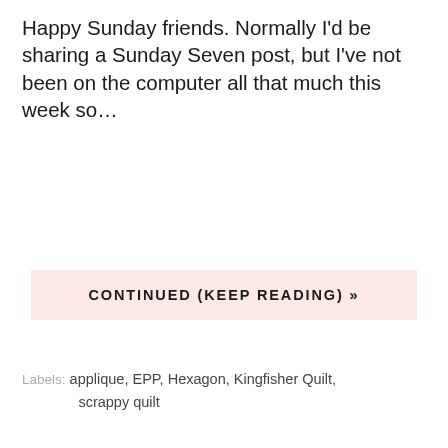Happy Sunday friends. Normally I'd be sharing a Sunday Seven post, but I've not been on the computer all that much this week so…
CONTINUED (KEEP READING) »
Labels: applique, EPP, Hexagon, Kingfisher Quilt, scrappy quilt
[Figure (photo): Photo of a colorful scrappy patchwork quilt with small square patches in many colors including pink, orange, red, green, blue and black. The image has a watermark reading www.sameliasmum.com in the top left corner. A circular menu button icon is visible in the upper right area of the photo.]